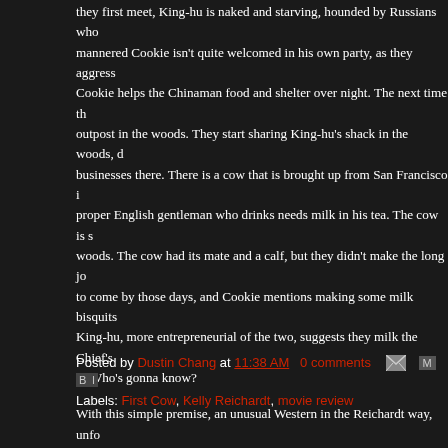they first meet, King-hu is naked and starving, hounded by Russians who mannered Cookie isn't quite welcomed in his own party, as they aggress Cookie helps the Chinaman food and shelter over night. The next time th outpost in the woods. They start sharing King-hu's shack in the woods, d businesses there. There is a cow that is brought up from San Francisco i proper English gentleman who drinks needs milk in his tea. The cow is s woods. The cow had its mate and a calf, but they didn't make the long jo to come by those days, and Cookie mentions making some milk bisquits King-hu, more entrepreneurial of the two, suggests they milk the Chief's it. Who's gonna know?
With this simple premise, an unusual Western in the Reichardt way, unfo and two gentle protagonists are polar opposite of the Wild West told in fil Cutoff, Reichardt redefines it with First Cow. This early days of America ( then, was ethnically very diverse and in too much of a survivalist mode to presence of Lily Gladstone (Certain Women) and Gary Farmer in an inte where else would you see a western about a couple of gentle souls with Reichardt film? As usual, shot in 16mm, 4:3 academy ratio by Christophe Northwest has never been more beautiful. And with gentle, fitting music b rare, perfect movies in every single way. It's something you want to cheri oily cake with honey.
Posted by Dustin Chang at 11:38 AM   0 comments
Labels: First Cow, Kelly Reichardt, movie review